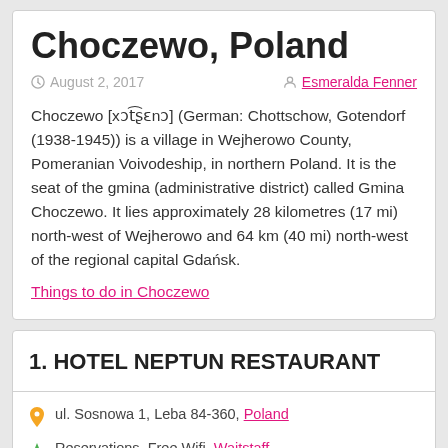Choczewo, Poland
August 2, 2017 | Esmeralda Fenner
Choczewo [xɔt͡ʂɛnɔ] (German: Chottschow, Gotendorf (1938-1945)) is a village in Wejherowo County, Pomeranian Voivodeship, in northern Poland. It is the seat of the gmina (administrative district) called Gmina Choczewo. It lies approximately 28 kilometres (17 mi) north-west of Wejherowo and 64 km (40 mi) north-west of the regional capital Gdańsk.
Things to do in Choczewo
1. HOTEL NEPTUN RESTAURANT
ul. Sosnowa 1, Leba 84-360, Poland
Reservations, Free Wifi, Waitstaff